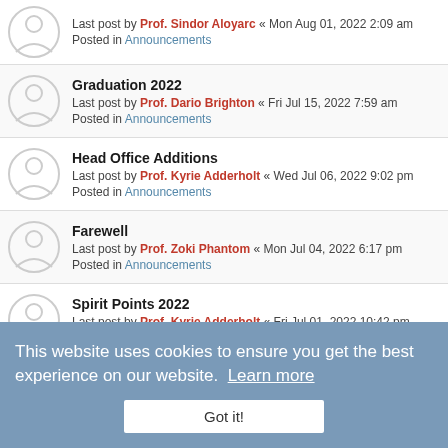Last post by Prof. Sindor Aloyarc « Mon Aug 01, 2022 2:09 am
Posted in Announcements
Graduation 2022
Last post by Prof. Dario Brighton « Fri Jul 15, 2022 7:59 am
Posted in Announcements
Head Office Additions
Last post by Prof. Kyrie Adderholt « Wed Jul 06, 2022 9:02 pm
Posted in Announcements
Farewell
Last post by Prof. Zoki Phantom « Mon Jul 04, 2022 6:17 pm
Posted in Announcements
Spirit Points 2022
Last post by Prof. Kyrie Adderholt « Fri Jul 01, 2022 10:42 pm
Posted in Announcements
This website uses cookies to ensure you get the best experience on our website. Learn more
Got it!